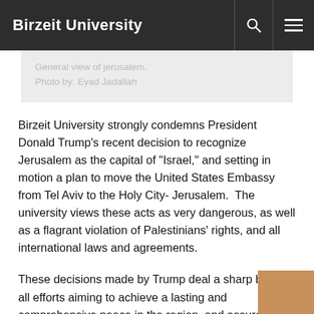Birzeit University
General view of jerusalem.
Photo by: Eyad Jadallah
Birzeit University strongly condemns President Donald Trump's recent decision to recognize Jerusalem as the capital of "Israel," and setting in motion a plan to move the United States Embassy from Tel Aviv to the Holy City- Jerusalem.  The university views these acts as very dangerous, as well as a flagrant violation of Palestinians' rights, and all international laws and agreements.
These decisions made by Trump deal a sharp blow to all efforts aiming to achieve a lasting and comprehensive peace in the region, and assure Palestinians that the American administration cannot